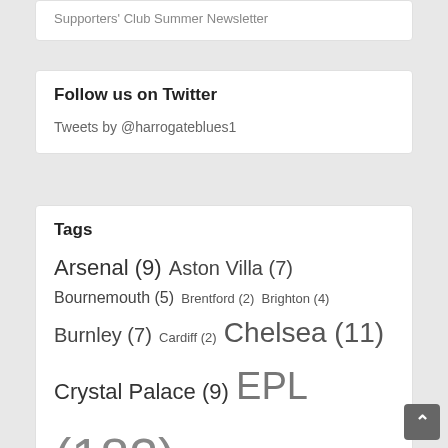Supporters' Club Summer Newsletter
Follow us on Twitter
Tweets by @harrogateblues1
Tags
Arsenal (9) Aston Villa (7) Bournemouth (5) Brentford (2) Brighton (4) Burnley (7) Cardiff (2) Chelsea (11) Crystal Palace (9) EPL (182) Europa (5) FA Cup (16) Fulham (4) Huddersfield (2) Hull (3) League Cup (9) Leeds United (3) Leicester (7) Leicester City (3) Liverpool (11) Manchester City (7)